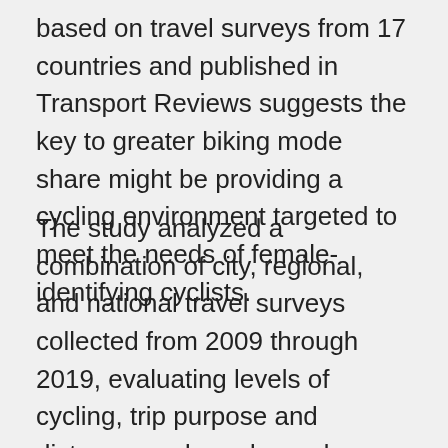based on travel surveys from 17 countries and published in Transport Reviews suggests the key to greater biking mode share might be providing a cycling environment targeted to meet the needs of female-identifying cyclists.
The study analyzed a combination of city, regional, and national travel surveys collected from 2009 through 2019, evaluating levels of cycling, trip purpose and distance, and gender and age demographics at the city level for 35 major cities (greater than 1 million population) and in urbanized areas nationwide for 11 of the 17 countries. The authors estimate that their study captures the cycling behavior of 648 million urban residents from all over the world, or about 17% of global urban